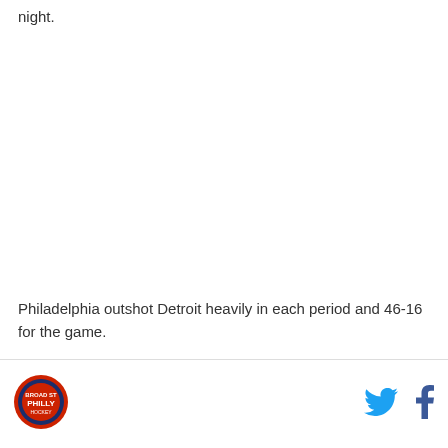night.
Philadelphia outshot Detroit heavily in each period and 46-16 for the game.
[Figure (logo): Broad Street Hockey / Philly sports circular logo with red and blue design]
[Figure (other): Twitter bird icon in blue]
[Figure (other): Facebook f icon in dark blue]